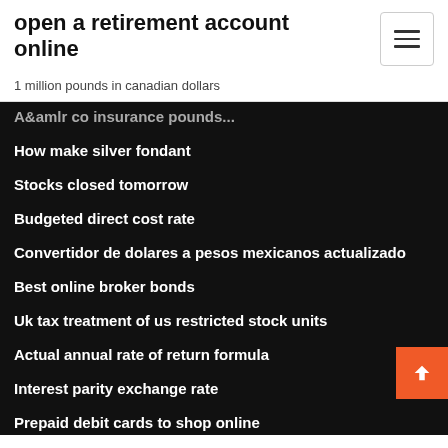open a retirement account online
1 million pounds in canadian dollars
How make silver fondant
Stocks closed tomorrow
Budgeted direct cost rate
Convertidor de dolares a pesos mexicanos actualizado
Best online broker bonds
Uk tax treatment of us restricted stock units
Actual annual rate of return formula
Interest parity exchange rate
Prepaid debit cards to shop online
Convert usd to our coinmill